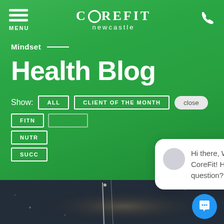COREFIT newcastle — MENU — phone icon
Mindset
Health Blog
Show: ALL | CLIENT OF THE MONTH | close | FITNESS | MINDSET | NUTRITION | SUCCESS
Hi there, Welcome to CoreFit! Have a question? Text us here.
[Figure (photo): Dark atmospheric night sky photo with light streaks, bottom portion of page]